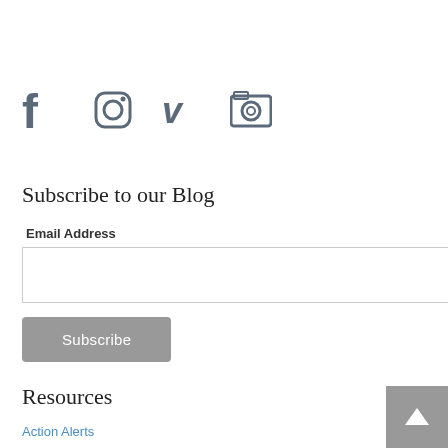[Figure (other): Social media icons: Facebook, Instagram, Vimeo, Camera/Flickr]
Subscribe to our Blog
Email Address
Resources
Action Alerts